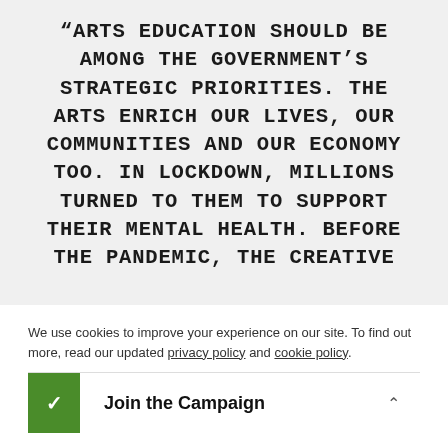“ARTS EDUCATION SHOULD BE AMONG THE GOVERNMENT’S STRATEGIC PRIORITIES. THE ARTS ENRICH OUR LIVES, OUR COMMUNITIES AND OUR ECONOMY TOO. IN LOCKDOWN, MILLIONS TURNED TO THEM TO SUPPORT THEIR MENTAL HEALTH. BEFORE THE PANDEMIC, THE CREATIVE
We use cookies to improve your experience on our site. To find out more, read our updated privacy policy and cookie policy.
Join the Campaign